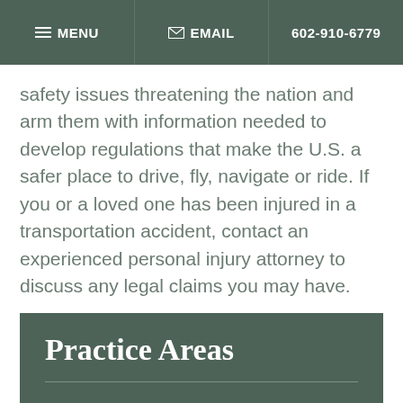MENU  EMAIL  602-910-6779
safety issues threatening the nation and arm them with information needed to develop regulations that make the U.S. a safer place to drive, fly, navigate or ride. If you or a loved one has been injured in a transportation accident, contact an experienced personal injury attorney to discuss any legal claims you may have.
Practice Areas
Birth injuries